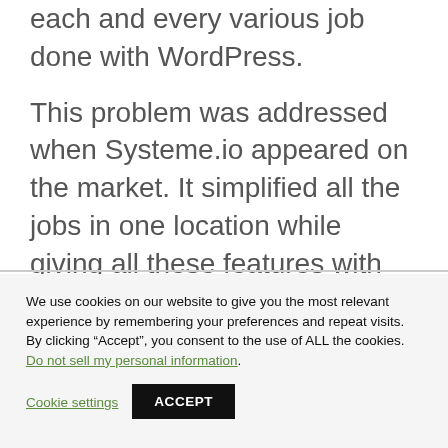each and every various job done with WordPress.
This problem was addressed when Systeme.io appeared on the market. It simplified all the jobs in one location while giving all these features with no trouble or confusion.
We use cookies on our website to give you the most relevant experience by remembering your preferences and repeat visits. By clicking “Accept”, you consent to the use of ALL the cookies. Do not sell my personal information.
Cookie settings
ACCEPT